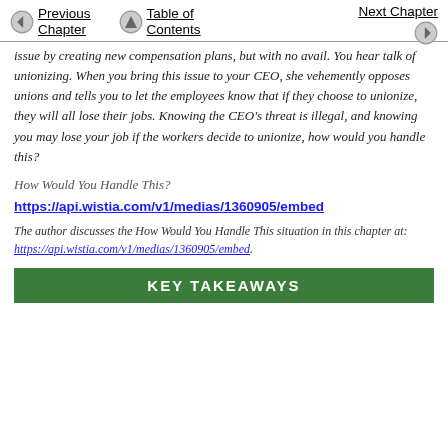Previous Chapter | Table of Contents | Next Chapter
issue by creating new compensation plans, but with no avail. You hear talk of unionizing. When you bring this issue to your CEO, she vehemently opposes unions and tells you to let the employees know that if they choose to unionize, they will all lose their jobs. Knowing the CEO's threat is illegal, and knowing you may lose your job if the workers decide to unionize, how would you handle this?
How Would You Handle This?
https://api.wistia.com/v1/medias/1360905/embed
The author discusses the How Would You Handle This situation in this chapter at: https://api.wistia.com/v1/medias/1360905/embed.
KEY TAKEAWAYS